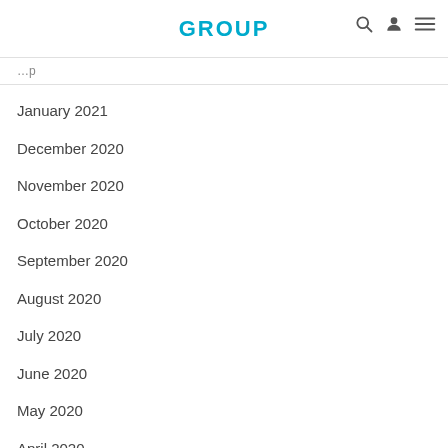GROUP
January 2021
December 2020
November 2020
October 2020
September 2020
August 2020
July 2020
June 2020
May 2020
April 2020
March 2020